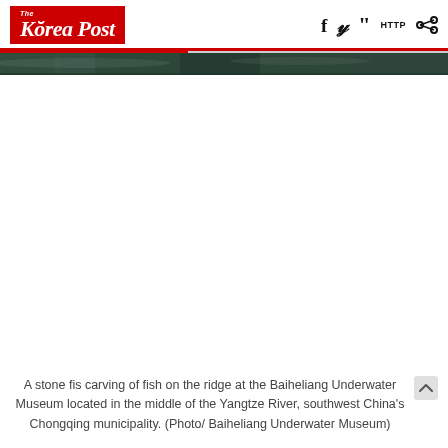The Korea Post
[Figure (photo): A narrow strip of dark greenish stone or rock surface at the top of the image area — partial view of the Baiheliang Underwater Museum rock ridge carving]
A stone fis carving of fish on the ridge at the Baiheliang Underwater Museum located in the middle of the Yangtze River, southwest China's Chongqing municipality. (Photo/ Baiheliang Underwater Museum)